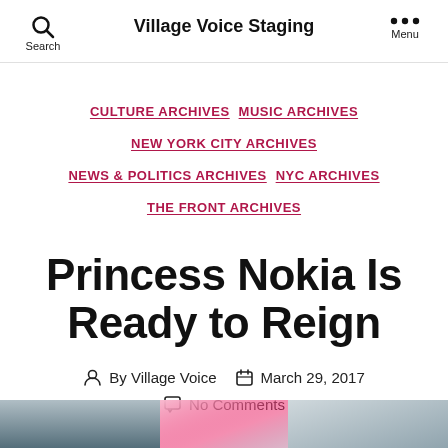Village Voice Staging
CULTURE ARCHIVES   MUSIC ARCHIVES   NEW YORK CITY ARCHIVES   NEWS & POLITICS ARCHIVES   NYC ARCHIVES   THE FRONT ARCHIVES
Princess Nokia Is Ready to Reign
By Village Voice   March 29, 2017   No Comments
[Figure (photo): Bottom strip showing a blurred photo of a person, light blue and pink tones]